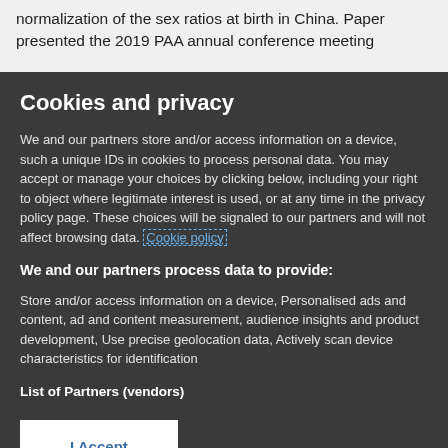normalization of the sex ratios at birth in China. Paper presented the 2019 PAA annual conference meeting
Cookies and privacy
We and our partners store and/or access information on a device, such a unique IDs in cookies to process personal data. You may accept or manage your choices by clicking below, including your right to object where legitimate interest is used, or at any time in the privacy policy page. These choices will be signaled to our partners and will not affect browsing data. Cookie policy
We and our partners process data to provide:
Store and/or access information on a device, Personalised ads and content, ad and content measurement, audience insights and product development, Use precise geolocation data, Actively scan device characteristics for identification
List of Partners (vendors)
I Accept